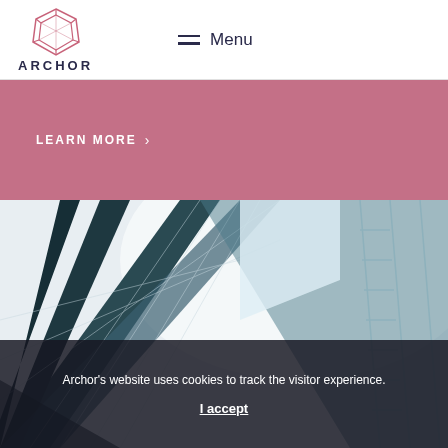[Figure (logo): Archor logo: pink hexagonal geometric icon with the text ARCHOR below in dark navy]
Menu
[Figure (photo): Upward-angled architectural photo of glass and steel building facade with geometric lines]
LEARN MORE >
Archor's website uses cookies to track the visitor experience.
I accept